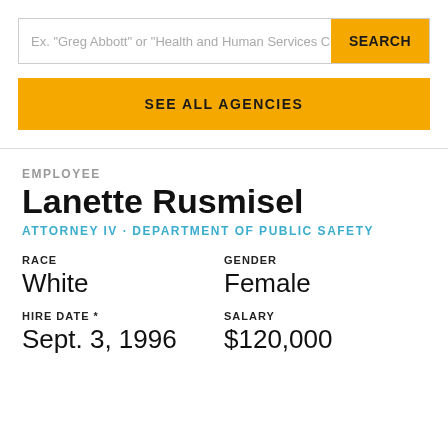Ex. "Greg Abbott" or "Health and Human Services Co
SEARCH
SEE ALL AGENCIES
EMPLOYEE
Lanette Rusmisel
ATTORNEY IV · DEPARTMENT OF PUBLIC SAFETY
RACE
White
GENDER
Female
HIRE DATE *
Sept. 3, 1996
SALARY
$120,000